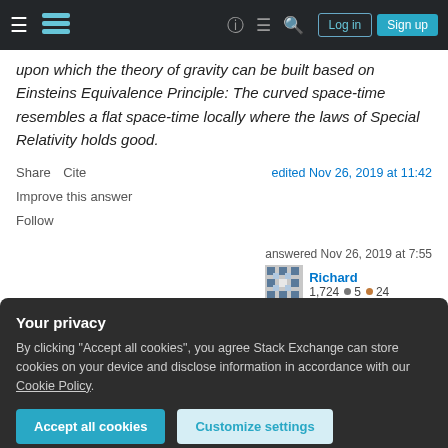Navigation bar with hamburger menu, Stack Exchange logo, help, chat, search icons, Log in and Sign up buttons
upon which the theory of gravity can be built based on Einsteins Equivalence Principle: The curved space-time resembles a flat space-time locally where the laws of Special Relativity holds good.
Share Cite | edited Nov 26, 2019 at 11:42
Improve this answer
Follow
answered Nov 26, 2019 at 7:55 Richard 1,724 ●5 ●24
Your privacy
By clicking "Accept all cookies", you agree Stack Exchange can store cookies on your device and disclose information in accordance with our Cookie Policy.
Accept all cookies   Customize settings
it means is that the space is continuous, that when